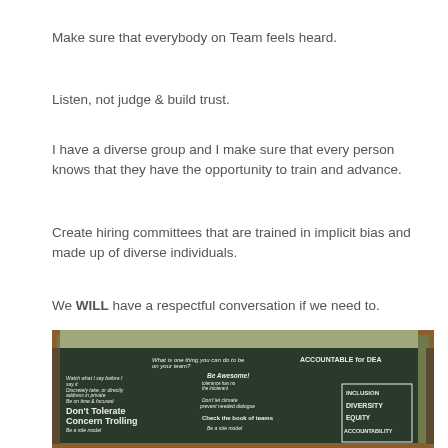Make sure that everybody on Team feels heard.
Listen, not judge & build trust.
I have a diverse group and I make sure that every person knows that they have the opportunity to train and advance.
Create hiring committees that are trained in implicit bias and made up of diverse individuals.
We WILL have a respectful conversation if we need to.
[Figure (photo): A chalkboard with handwritten text about team accountability for DEI, including words like Inclusion, Diversity, Equity, Accountability, Don't Tolerate Concern Trolling, Be Accountable, and a question: What is one thing you can do to be ACCOUNTABLE for DEA on your team?]